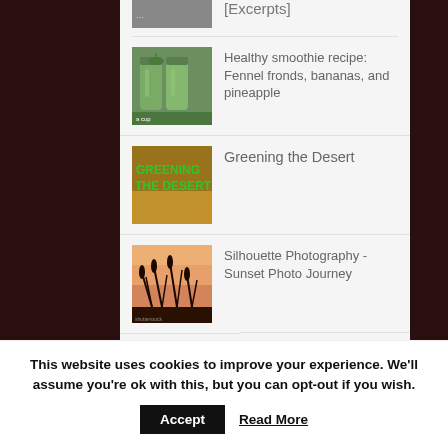[Excerpts]
Healthy smoothie recipe: Fennel fronds, bananas, and pineapple
Greening the Desert
Silhouette Photography - Sunset Photo Journey
Powered by Cōntextly
This website uses cookies to improve your experience. We'll assume you're ok with this, but you can opt-out if you wish.
Accept
Read More